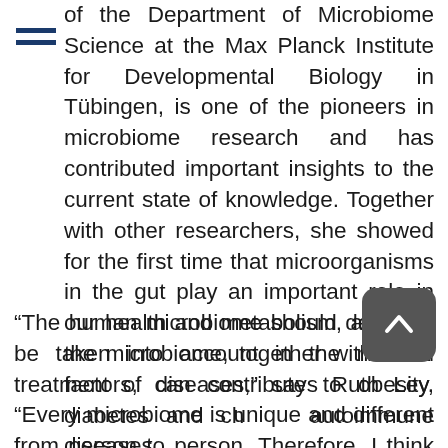of the Department of Microbiome Science at the Max Planck Institute for Developmental Biology in Tübingen, is one of the pioneers in microbiome research and has contributed important insights to the current state of knowledge. Together with other researchers, she showed for the first time that microorganisms in the gut play an important role in our health and metabolism, and that the microbiome, together with other factors, can contribute to obesity, diabetes and chronic autoimmune diseases.
“The human microbiome should definitely be taken into account in the medical treatment of diseases,” says Ruth Ley. “Every microbiome is unique and different from person to person. Therefore, I think that good medical practice